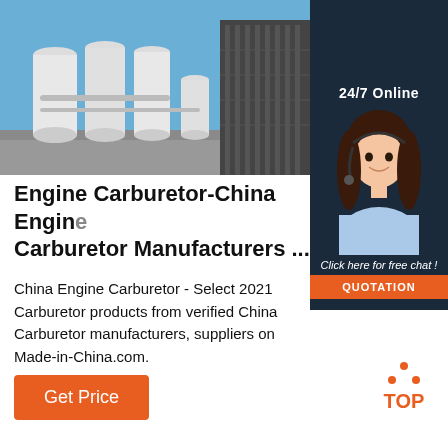[Figure (photo): Industrial facility with large white cylindrical tanks/silos against a blue sky, and a dark corrugated metal building on the right]
[Figure (infographic): Dark navy sidebar panel showing '24/7 Online' label, a smiling female customer service agent wearing a headset, 'Click here for free chat!' text, and an orange QUOTATION button]
Engine Carburetor-China Engine Carburetor Manufacturers ...
China Engine Carburetor - Select 2021 Carburetor products from verified China Carburetor manufacturers, suppliers on Made-in-China.com.
[Figure (infographic): Orange 'Get Price' button]
[Figure (logo): TOP badge with orange dots arranged in a triangle above the word TOP in orange]